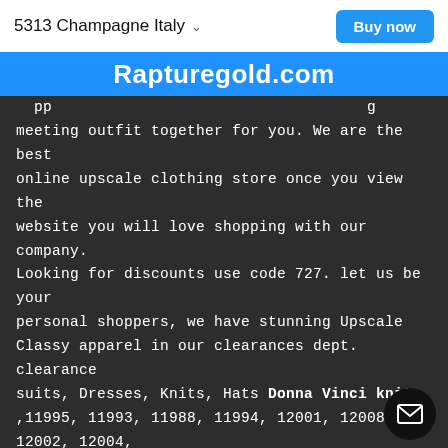5313 Champagne Italy  Buy now
Rapturegold.com
meeting outfit together for you. We are the best online upscale clothing store once you view the website you will love shopping with our company. Looking for discounts use code 727. let us be your personal shoppers, we have stunning Upscale Classy apparel in our clearances dept. clearance suits, Dresses, Knits, Hats Donna Vinci knits, ,11995, 11993, 11988, 11994, 12001, 12008, 12002, 12004, 11991, 11984, 12003 11999, 11992, 11997, 11983, 12009, 12010, 11990, 12011, 11996, 11986, 12006, 11985, 11981, 11987, 12007, 11982, 12000, 12005, 11998, 11980, Mother of The Bride formal wear, we carry the We